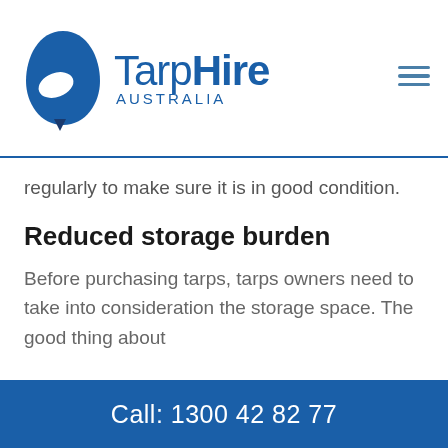[Figure (logo): TarpHire Australia logo with blue teardrop/tarp shape icon and company name in blue text]
regularly to make sure it is in good condition.
Reduced storage burden
Before purchasing tarps, tarps owners need to take into consideration the storage space. The good thing about hiring tarps is that you don't need to
Call: 1300 42 82 77